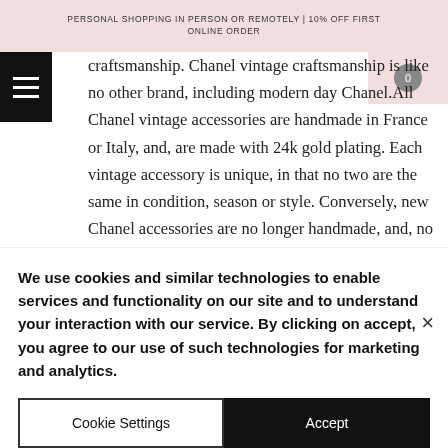PERSONAL SHOPPING IN PERSON OR REMOTELY | 10% OFF FIRST ONLINE ORDER
craftsmanship. Chanel vintage craftsmanship is like no other brand, including modern day Chanel. All Chanel vintage accessories are handmade in France or Italy, and, are made with 24k gold plating. Each vintage accessory is unique, in that no two are the same in condition, season or style. Conversely, new Chanel accessories are no longer handmade, and, no longer have gold plating.
We use cookies and similar technologies to enable services and functionality on our site and to understand your interaction with our service. By clicking on accept, you agree to our use of such technologies for marketing and analytics.